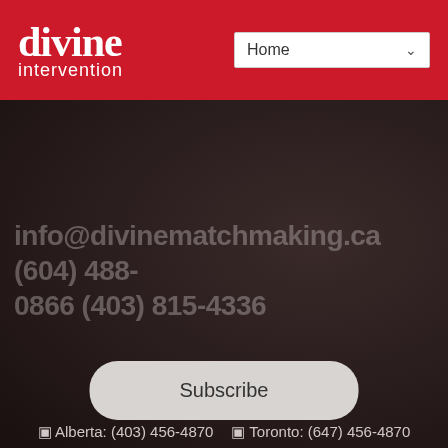[Figure (logo): Divine Intervention logo — white stylized text 'divine intervention' on red background header, with a navigation dropdown showing 'Home']
[Figure (photo): Dark moody background photo of a person in dimly lit setting, with semi-transparent contact info watermark overlay: 'info@divinematchmaking.ca (604) 488-0866 (403) 815-4336']
Vancouver: (604) 488-0866
Alberta: (403) 456-4870  Toronto: (647) 456-4870
info@divinematchmaking.com
Subscribe